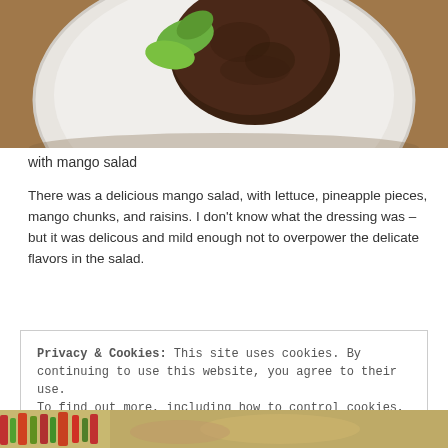[Figure (photo): A white plate with a dark brown cooked meat patty and green lettuce leaves on a wooden surface, photographed from above (partial crop showing top portion).]
with mango salad
There was a delicious mango salad, with lettuce, pineapple pieces, mango chunks, and raisins. I don't know what the dressing was – but it was delicous and mild enough not to overpower the delicate flavors in the salad.
Privacy & Cookies: This site uses cookies. By continuing to use this website, you agree to their use.
To find out more, including how to control cookies, see here: Cookie Policy
Close and accept
[Figure (photo): Partial bottom strip showing colorful food items — likely a salad with vegetables.]